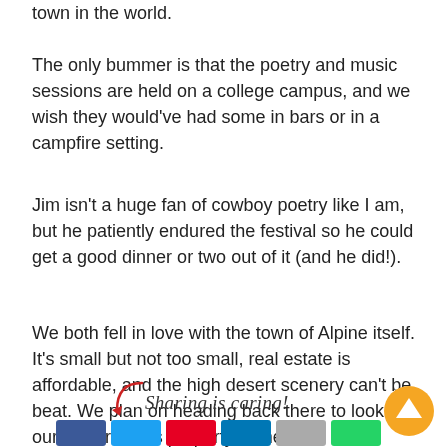town in the world.
The only bummer is that the poetry and music sessions are held on a college campus, and we wish they would've had some in bars or in a campfire setting.
Jim isn't a huge fan of cowboy poetry like I am, but he patiently endured the festival so he could get a good dinner or two out of it (and he did!).
We both fell in love with the town of Alpine itself. It's small but not too small, real estate is affordable, and the high desert scenery can't be beat. We plan on heading back there to look for our winter Texas property in the fall.
[Figure (infographic): Sharing is caring! label with a decorative curved arrow, social sharing buttons (Facebook, Twitter, Pinterest, LinkedIn, other, WhatsApp), and an orange circular up-arrow button in the bottom right.]